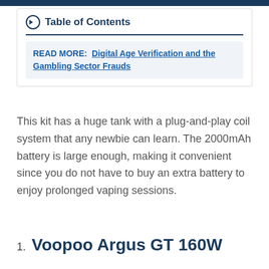Table of Contents
READ MORE: Digital Age Verification and the Gambling Sector Frauds
This kit has a huge tank with a plug-and-play coil system that any newbie can learn. The 2000mAh battery is large enough, making it convenient since you do not have to buy an extra battery to enjoy prolonged vaping sessions.
1. Voopoo Argus GT 160W